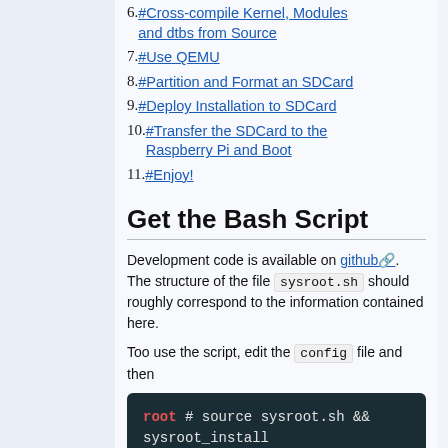6. #Cross-compile Kernel, Modules and dtbs from Source
7. #Use QEMU
8. #Partition and Format an SDCard
9. #Deploy Installation to SDCard
10. #Transfer the SDCard to the Raspberry Pi and Boot
11. #Enjoy!
Get the Bash Script
Development code is available on github. The structure of the file sysroot.sh should roughly correspond to the information contained here.
Too use the script, edit the config file and then
root # source sysroot.sh && sysroot_install